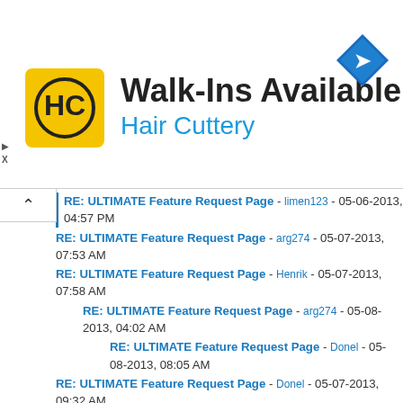[Figure (infographic): Hair Cuttery advertisement banner with logo, 'Walk-Ins Available' text, and navigation icon]
RE: ULTIMATE Feature Request Page - limen123 - 05-06-2013, 04:57 PM
RE: ULTIMATE Feature Request Page - arg274 - 05-07-2013, 07:53 AM
RE: ULTIMATE Feature Request Page - Henrik - 05-07-2013, 07:58 AM
RE: ULTIMATE Feature Request Page - arg274 - 05-08-2013, 04:02 AM
RE: ULTIMATE Feature Request Page - Donel - 05-08-2013, 08:05 AM
RE: ULTIMATE Feature Request Page - Donel - 05-07-2013, 09:32 AM
RE: ULTIMATE Feature Request Page - Terminator - 05-07-2013, 11:31 AM
RE: ULTIMATE Feature Request Page - arg274 - 05-07-2013, 12:40 PM
RE: ULTIMATE Feature Request Page - Vincentmrl - 05-07-2013, 06:32 PM
RE: ULTIMATE Feature Request Page - VIRGIN KLM - 05-08-2013, 01:02 PM
RE: ULTIMATE Feature Request Page - arg274 - 05-08-2013, 10:29